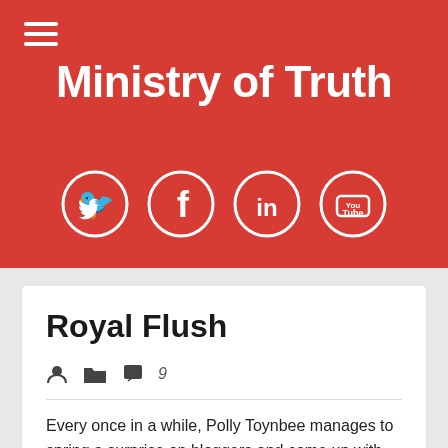Ministry of Truth
[Figure (infographic): Social media icons in white circles on red background: Twitter, Facebook, LinkedIn, YouTube]
Royal Flush
author icon, folder icon, comment icon 9
Every once in a while, Polly Toynbee manages to spring a surprise on bloggers and come up with something that's